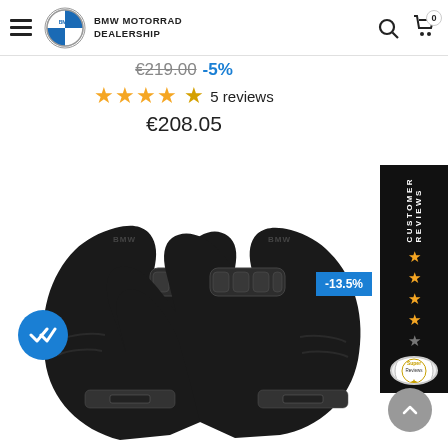BMW MOTORRAD DEALERSHIP
€219.00  -5%
★★★★☆  5 reviews
€208.05
[Figure (photo): Black motorcycle gloves product photo — pair of black leather protective gloves with knuckle armor, shown crossed/overlapping on white background]
-13.5%
[Figure (other): Customer Reviews sidebar badge with stars rating and Super Reviews seal]